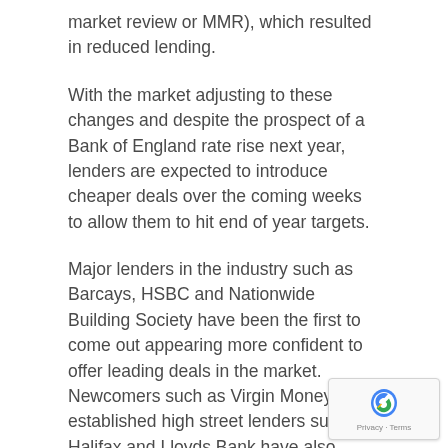market review or MMR), which resulted in reduced lending.
With the market adjusting to these changes and despite the prospect of a Bank of England rate rise next year, lenders are expected to introduce cheaper deals over the coming weeks to allow them to hit end of year targets.
Major lenders in the industry such as Barcays, HSBC and Nationwide Building Society have been the first to come out appearing more confident to offer leading deals in the market. Newcomers such as Virgin Money and established high street lenders such as Halifax and Lloyds Bank have also followed suit. Mortgage rates of under 2% (notably two year fixed), will become standard practice over the coming months with lenders locked in a price war which is set to intensify in the run up to Christmas.